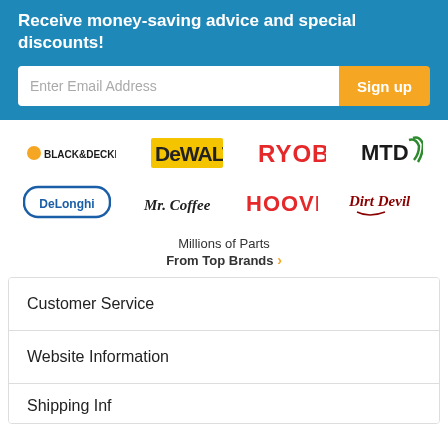Receive money-saving advice and special discounts!
Enter Email Address | Sign up
[Figure (logo): Brand logos: Black & Decker, DeWalt, Ryobi, MTD (top row); DeLonghi, Mr. Coffee, Hoover, Dirt Devil (bottom row)]
Millions of Parts
From Top Brands >
Customer Service
Website Information
Shipping Information (partial)